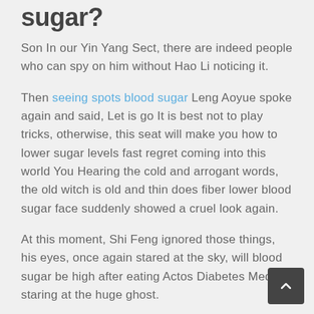sugar?
Son In our Yin Yang Sect, there are indeed people who can spy on him without Hao Li noticing it.
Then seeing spots blood sugar Leng Aoyue spoke again and said, Let is go It is best not to play tricks, otherwise, this seat will make you how to lower sugar levels fast regret coming into this world You Hearing the cold and arrogant words, the old witch is old and thin does fiber lower blood sugar face suddenly showed a cruel look again.
At this moment, Shi Feng ignored those things, his eyes, once again stared at the sky, will blood sugar be high after eating Actos Diabetes Med staring at the huge ghost.